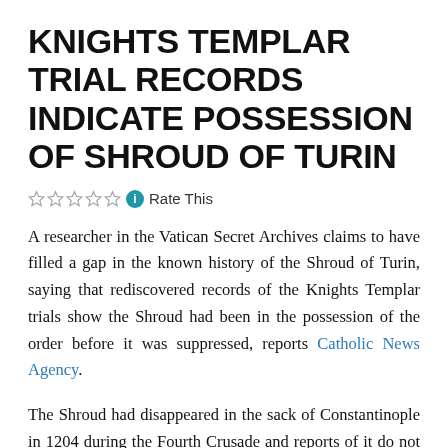KNIGHTS TEMPLAR TRIAL RECORDS INDICATE POSSESSION OF SHROUD OF TURIN
☆☆☆☆☆ ℹ Rate This
A researcher in the Vatican Secret Archives claims to have filled a gap in the known history of the Shroud of Turin, saying that rediscovered records of the Knights Templar trials show the Shroud had been in the possession of the order before it was suppressed, reports Catholic News Agency.
The Shroud had disappeared in the sack of Constantinople in 1204 during the Fourth Crusade and reports of it do not surface again until 1353, Researcher Barbara Frale said in L'Osservatore